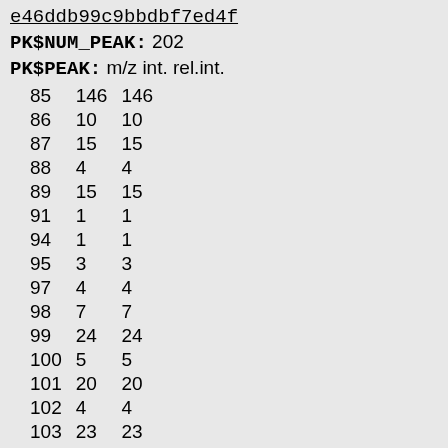e46ddb99c9bbdbf7ed4f
PK$NUM_PEAK: 202
PK$PEAK: m/z int. rel.int.
| m/z | int. | rel.int. |
| --- | --- | --- |
| 85 | 146 | 146 |
| 86 | 10 | 10 |
| 87 | 15 | 15 |
| 88 | 4 | 4 |
| 89 | 15 | 15 |
| 91 | 1 | 1 |
| 94 | 1 | 1 |
| 95 | 3 | 3 |
| 97 | 4 | 4 |
| 98 | 7 | 7 |
| 99 | 24 | 24 |
| 100 | 5 | 5 |
| 101 | 20 | 20 |
| 102 | 4 | 4 |
| 103 | 23 | 23 |
| 104 | 5 | 5 |
| 105 | 14 | 14 |
| 106 | 3 | 3 |